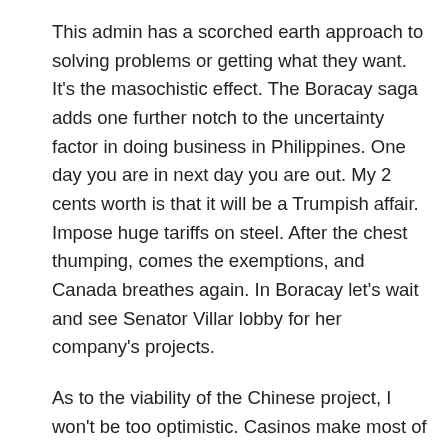This admin has a scorched earth approach to solving problems or getting what they want. It's the masochistic effect. The Boracay saga adds one further notch to the uncertainty factor in doing business in Philippines. One day you are in next day you are out. My 2 cents worth is that it will be a Trumpish affair. Impose huge tariffs on steel. After the chest thumping, comes the exemptions, and Canada breathes again. In Boracay let's wait and see Senator Villar lobby for her company's projects.
As to the viability of the Chinese project, I won't be too optimistic. Casinos make most of their money from high rollers. These group of people travel round the world to play. To these people